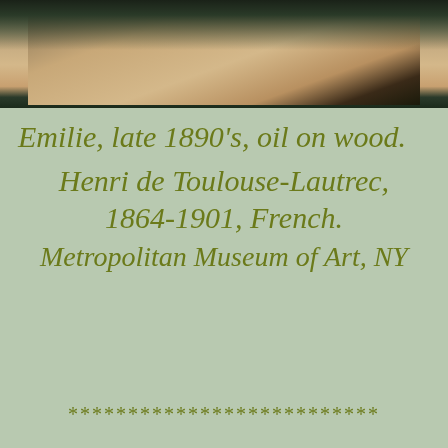[Figure (photo): Bottom portion of a painting showing a figure with dark hair/clothing against a warm-toned background, cropped at the top of the page]
Emilie, late 1890’s, oil on wood. Henri de Toulouse-Lautrec, 1864-1901, French. Metropolitan Museum of Art, NY
**************************